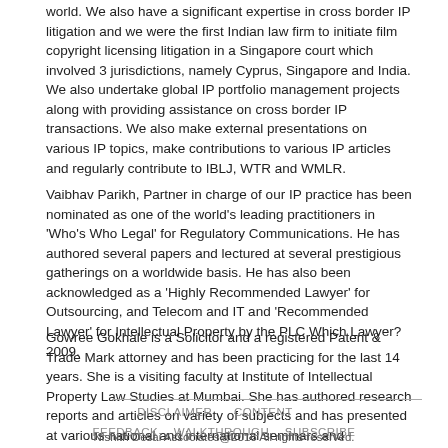world. We also have a significant expertise in cross border IP litigation and we were the first Indian law firm to initiate film copyright licensing litigation in a Singapore court which involved 3 jurisdictions, namely Cyprus, Singapore and India. We also undertake global IP portfolio management projects along with providing assistance on cross border IP transactions. We also make external presentations on various IP topics, make contributions to various IP articles and regularly contribute to IBLJ, WTR and WMLR.
Vaibhav Parikh, Partner in charge of our IP practice has been nominated as one of the world's leading practitioners in 'Who's Who Legal' for Regulatory Communications. He has authored several papers and lectured at several prestigious gatherings on a worldwide basis. He has also been acknowledged as a 'Highly Recommended Lawyer' for Outsourcing, and Telecom and IT and 'Recommended Lawyer' for Intellectual Property by the PLC Which Lawyer? 2009.
Gowree Gokhale is a Solicitor and a registered Patent & Trade Mark attorney and has been practicing for the last 14 years. She is a visiting faculty at Institute of Intellectual Property Law Studies at Mumbai. She has authored research reports and articles on variety of subjects and has presented at various national and international seminars and conferences on IP, pharmaceutical, media and technology laws.
DISCLAIMER   CONTENT   FEEDBACK   WALKTHROUGH   SUBSCRIBE
Nishith Desai Associates@2016 All rights reserved.